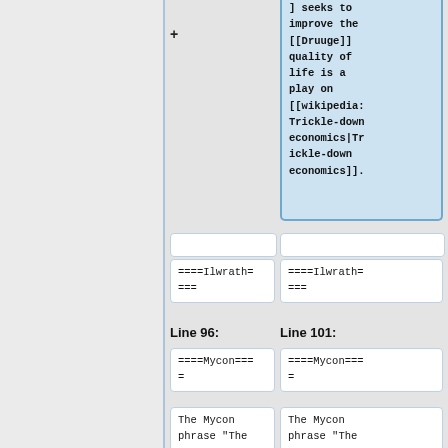] seeks to improve the [[Druuge]] quality of life is a play on [[wikipedia:Trickle-down economics|Trickle-down economics]].
====Ilwrath===
====Ilwrath===
Line 96:
Line 101:
====Mycon====
====Mycon====
The Mycon phrase "The
The Mycon phrase "The